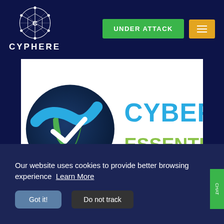CYPHERE | UNDER ATTACK | Menu
[Figure (logo): Cyber Essentials logo with dark blue circle, green checkmark shield, blue swoosh checkmark, and text CYBER ESSENTIALS in blue and green]
Our website uses cookies to provide better browsing experience  Learn More
Got it!   Do not track